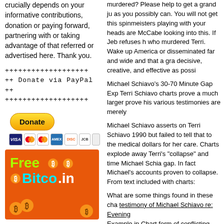crucially depends on your informative contributions, donation or paying forward, partnering with or taking advantage of that referred or advertised here. Thank you.
+++++++++++++++++++ ++ Donate via PayPal ++ +++++++++++++++++++
[Figure (other): PayPal Donate button with credit card icons (Visa, Mastercard, Mastercard, American Express, Discover, JCB, blank)]
[Figure (other): FreeBitco.in advertisement banner with orange background, bitcoin coins, and colorful text]
murdered? Please help to get a grand jury as you possibly can. You will not get this spinmeisters playing with your heads are McCabe looking into this. If Jeb refuses h who murdered Terri. Wake up America or disseminated far and wide and that a gra decisive, creative, and effective as possi
Michael Schiavo's 30-70 Minute Gap Exp Terri Schiavo charts prove a much larger prove his various testimonies are merely
Michael Schiavo asserts on Terri Schiavo 1990 but failed to tell that to the medical dollars for her care. Charts explode away Terri's "collapse" and time Michael Schia gap. In fact Michael's accounts proven to collapse. From text included with charts:
What are some things found in these cha testimony of Michael Schiavo re: Evening Example in Chart form of conflicting testi pictures look small when loaded click on them in picture viewer.]